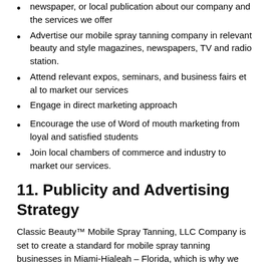newspaper, or local publication about our company and the services we offer
Advertise our mobile spray tanning company in relevant beauty and style magazines, newspapers, TV and radio station.
Attend relevant expos, seminars, and business fairs et al to market our services
Engage in direct marketing approach
Encourage the use of Word of mouth marketing from loyal and satisfied students
Join local chambers of commerce and industry to market our services.
11. Publicity and Advertising Strategy
Classic Beauty™ Mobile Spray Tanning, LLC Company is set to create a standard for mobile spray tanning businesses in Miami-Hialeah – Florida, which is why we will adopt and apply best practices in our business. Here are the platforms we intend leveraging on to promote and advertise Classic Beauty™ Mobile Spray Tanning, LLC Company;